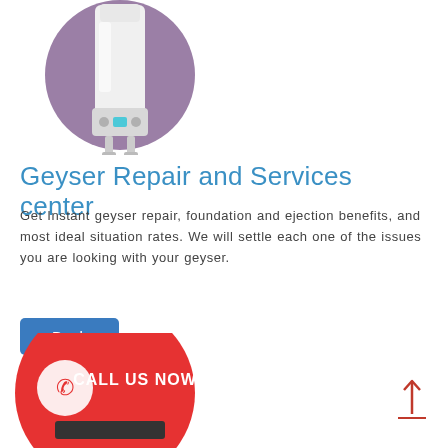[Figure (illustration): Illustration of a white geyser/water heater unit placed inside a purple/mauve circle background]
Geyser Repair and Services center
Get Instant geyser repair, foundation and ejection benefits, and most ideal situation rates. We will settle each one of the issues you are looking with your geyser.
[Figure (other): Blue 'Book' button]
[Figure (other): Red upward arrow icon with underline]
[Figure (illustration): Red circular illustration with phone icon and 'CALL US NOW' text, partially visible at bottom left]